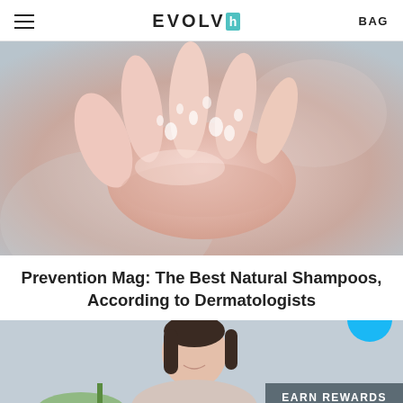EVOLVh BAG
[Figure (photo): Close-up of a hand cupped upward with water droplets or gel product on it, against a soft blurred background]
Prevention Mag: The Best Natural Shampoos, According to Dermatologists
[Figure (photo): A smiling woman with dark hair, partially visible, shown from shoulders up against a light grey background, with a chat button overlay and an EARN REWARDS banner]